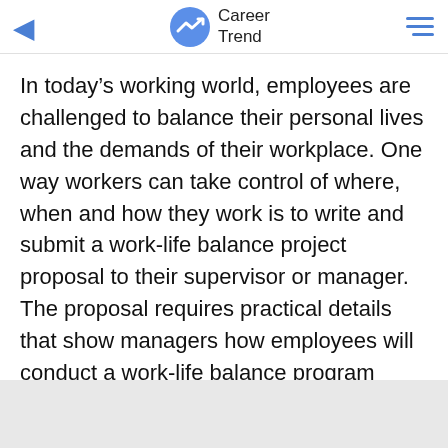Career Trend
In today’s working world, employees are challenged to balance their personal lives and the demands of their workplace. One way workers can take control of where, when and how they work is to write and submit a work-life balance project proposal to their supervisor or manager. The proposal requires practical details that show managers how employees will conduct a work-life balance program feasibility study and explain how their work will get done over the specified trial time period.